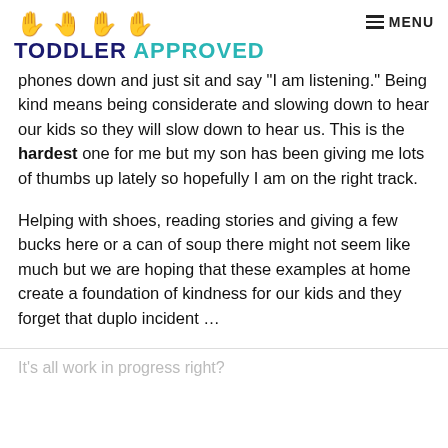TODDLER APPROVED — MENU
phones down and just sit and say "I am listening." Being kind means being considerate and slowing down to hear our kids so they will slow down to hear us. This is the hardest one for me but my son has been giving me lots of thumbs up lately so hopefully I am on the right track.
Helping with shoes, reading stories and giving a few bucks here or a can of soup there might not seem like much but we are hoping that these examples at home create a foundation of kindness for our kids and they forget that duplo incident …
It's all work in progress right?